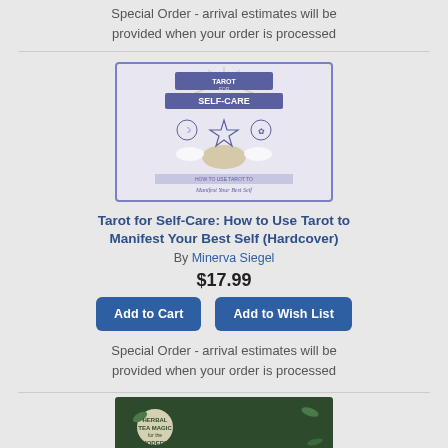Special Order - arrival estimates will be provided when your order is processed
[Figure (illustration): Book cover of 'Tarot for Self-Care: How to Use Tarot to Manifest Your Best Self' with purple/blue background, featuring mystical hand holding a star symbol with rays and icons]
Tarot for Self-Care: How to Use Tarot to Manifest Your Best Self (Hardcover)
By Minerva Siegel
$17.99
Add to Cart
Add to Wish List
Special Order - arrival estimates will be provided when your order is processed
[Figure (illustration): Partial book cover of 'Herbal Tea Magic for the Modern...' with dark green background and botanical illustrations]